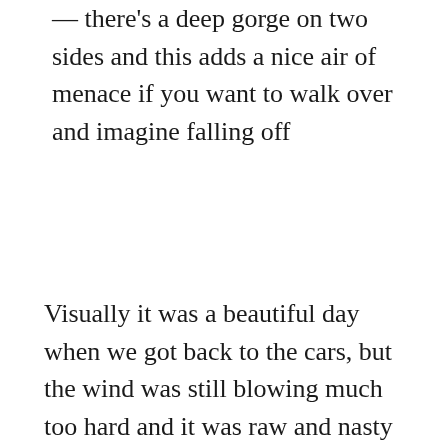— there's a deep gorge on two sides and this adds a nice air of menace if you want to walk over and imagine falling off
Visually it was a beautiful day when we got back to the cars, but the wind was still blowing much too hard and it was raw and nasty back down on the flood plain  —  so it was extremely fun to have the get-together waiting for us just a few blocks away